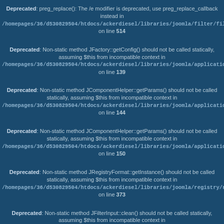Deprecated: preg_replace(): The /e modifier is deprecated, use preg_replace_callback instead in /homepages/36/d530829504/htdocs/ackerdiesel/libraries/joomla/filter/filterinpu on line 514
Deprecated: Non-static method JFactory::getConfig() should not be called statically, assuming $this from incompatible context in /homepages/36/d530829504/htdocs/ackerdiesel/libraries/joomla/application/m on line 139
Deprecated: Non-static method JComponentHelper::getParams() should not be called statically, assuming $this from incompatible context in /homepages/36/d530829504/htdocs/ackerdiesel/libraries/joomla/application/m on line 144
Deprecated: Non-static method JComponentHelper::getParams() should not be called statically, assuming $this from incompatible context in /homepages/36/d530829504/htdocs/ackerdiesel/libraries/joomla/application/m on line 150
Deprecated: Non-static method JRegistryFormat::getInstance() should not be called statically, assuming $this from incompatible context in /homepages/36/d530829504/htdocs/ackerdiesel/libraries/joomla/registry/regis on line 373
Deprecated: Non-static method JFilterInput::clean() should not be called statically, assuming $this from incompatible context in